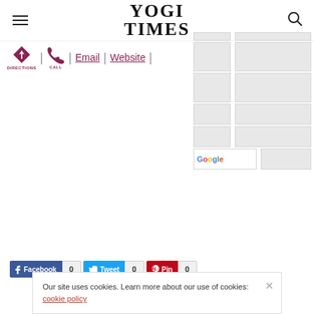[Figure (logo): Yogi Times logo with hamburger menu icon on left and search icon on right]
DIRECTIONS | CALL | Email | Website |
[Figure (screenshot): Google Maps embed placeholder grid with gray cells]
Facebook 0   Tweet 0   Pin 0
Our site uses cookies. Learn more about our use of cookies: cookie policy